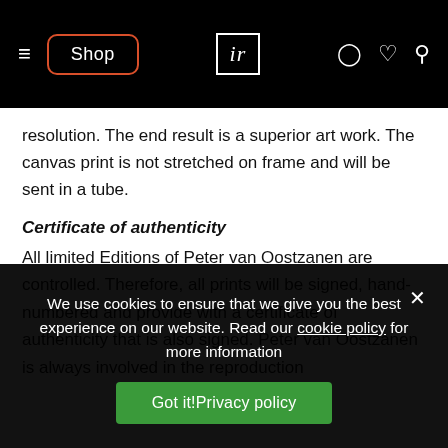Shop | ir | (user icon) (heart icon) (cart icon)
resolution. The end result is a superior art work. The canvas print is not stretched on frame and will be sent in a tube.
Certificate of authenticity
All limited Editions of Peter van Oostzanen are controlled. Therefore, all prints will be signed, hand-numbered and provide with a certificate of authenticity that is also signed. Peter van Oostzanen is always involved in the reproduction
We use cookies to ensure that we give you the best experience on our website. Read our cookie policy for more information
Got it!Privacy policy